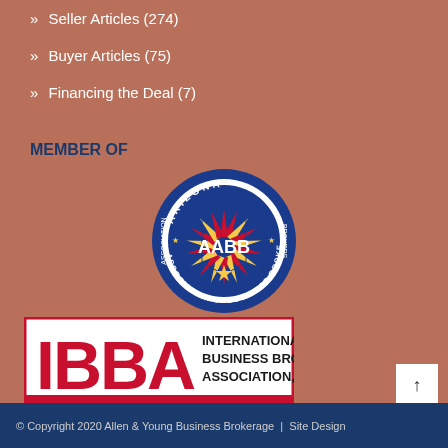» Seller Articles (274)
» Buyer Articles (75)
» Financing the Deal (7)
MEMBER OF
[Figure (logo): Arizona Association of Business Brokers (AABB) circular logo with blue border, featuring the Arizona state shape with radiating red and yellow pattern, stars, and text around the border.]
[Figure (logo): IBBA International Business Brokers Association, Inc. logo with red letters IBBA on white background with red border.]
© Copyright 2020 Allen & Young Business Brokerage  |  Site Design